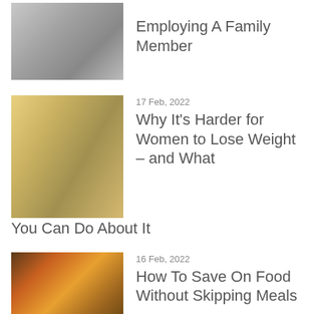[Figure (photo): Woman using a laptop, seen from behind, dark hair]
Employing A Family Member
[Figure (photo): Woman outdoors in sunlit forest, fitness attire]
17 Feb, 2022
Why It’s Harder for Women to Lose Weight – and What You Can Do About It
[Figure (photo): Colorful food market display with spices and grains]
16 Feb, 2022
How To Save On Food Without Skipping Meals
[Figure (photo): Ambulance vehicle, partially visible]
02 Feb, 2022